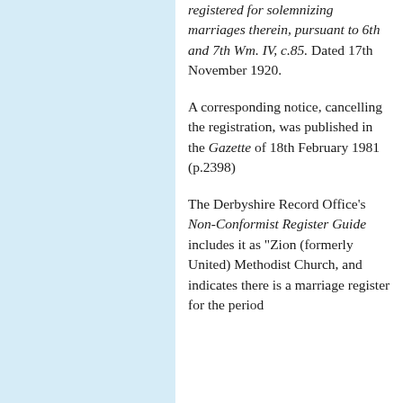[Figure (other): Light blue vertical panel on the left side of the page]
registered for solemnizing marriages therein, pursuant to 6th and 7th Wm. IV, c.85. Dated 17th November 1920.
A corresponding notice, cancelling the registration, was published in the Gazette of 18th February 1981 (p.2398)
The Derbyshire Record Office's Non-Conformist Register Guide includes it as "Zion (formerly United) Methodist Church, and indicates there is a marriage register for the period